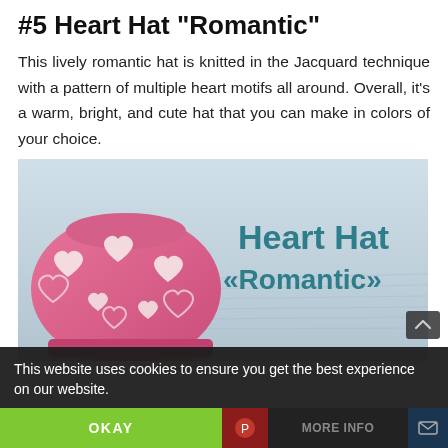#5 Heart Hat "Romantic"
This lively romantic hat is knitted in the Jacquard technique with a pattern of multiple heart motifs all around. Overall, it's a warm, bright, and cute hat that you can make in colors of your choice.
[Figure (photo): Photo of a pink knitted beret hat with white heart motifs, worn by a person with long hair. Text overlay reads 'Heart Hat «Romantic»' in teal bold font on a blurred blue-grey background.]
This website uses cookies to ensure you get the best experience on our website.